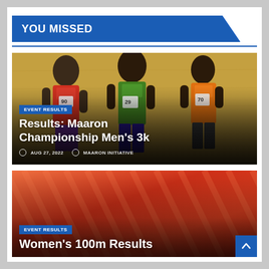YOU MISSED
[Figure (photo): Three male runners in athletic jerseys (red, green, orange) with race numbers, standing against a golden-brown textured background]
EVENT RESULTS
Results:  Maaron Championship Men's 3k
AUG 27, 2022   MAARON INITIATIVE
[Figure (photo): Red/orange diagonal-stripe background with bold text 'Event Results' partially visible]
EVENT RESULTS
Women's 100m Results